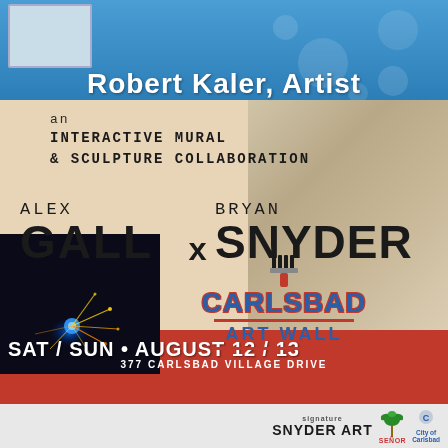Robert Kaler, Artist
an INTERACTIVE MURAL & SCULPTURE COLLABORATION
ALEX GALL x BRYAN SNYDER
SAT / SUN • AUGUST 12 / 13
[Figure (logo): Carlsbad Art Wall logo with paintbrush icon]
377 CARLSBAD VILLAGE DRIVE
SNYDER ART
[Figure (photo): Event promotional flyer with photos of artists working - man spray painting mural on ladder on right, welder with sparks on bottom left]
SNYDER ART | City of Carlsbad